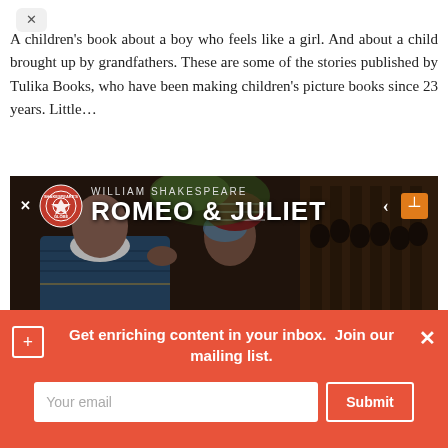A children's book about a boy who feels like a girl. And about a child brought up by grandfathers. These are some of the stories published by Tulika Books, who have been making children's picture books since 23 years. Little…
[Figure (photo): William Shakespeare Romeo & Juliet theatrical production photo showing two actors kissing, with Shakespeare's Globe logo, at what appears to be the Globe Theatre with audience in background. Navigation arrow and chapter button visible.]
Get enriching content in your inbox.  Join our mailing list.
Your email
Submit